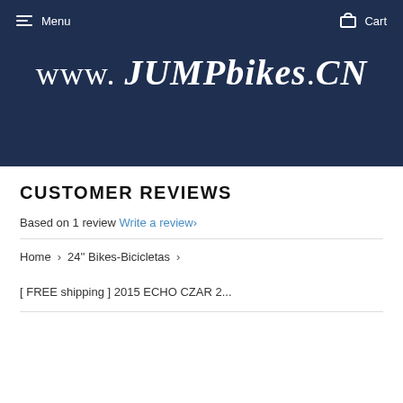Menu   Cart
www.JUMPbikes.CN
CUSTOMER REVIEWS
Based on 1 review Write a review›
Home › 24'' Bikes-Bicicletas ›
[ FREE shipping ] 2015 ECHO CZAR 2...